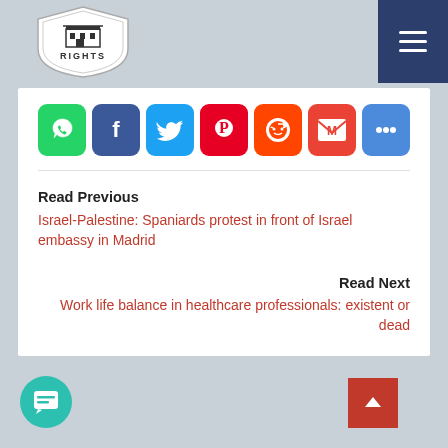The Workers Rights
[Figure (logo): The Workers Rights shield logo with building icon and text RIGHTS]
Social share buttons: WhatsApp, Facebook, Twitter, Pinterest, Reddit, Gmail, More
Read Previous
Israel-Palestine: Spaniards protest in front of Israel embassy in Madrid
Read Next
Work life balance in healthcare professionals: existent or dead